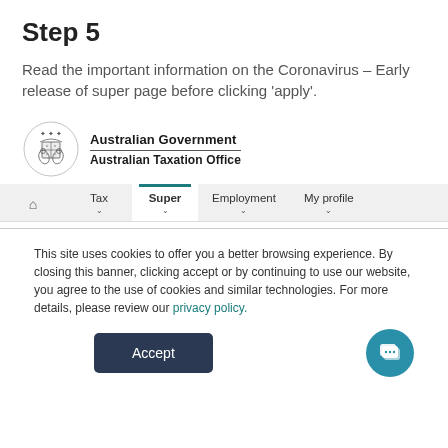Step 5
Read the important information on the Coronavirus – Early release of super page before clicking ‘apply’.
[Figure (logo): Australian Government Australian Taxation Office crest and text logo]
[Figure (screenshot): ATO website navigation bar with tabs: Home (house icon), Tax (dropdown), Super (active, with teal underline, dropdown), Employment (dropdown), My profile (dropdown)]
This site uses cookies to offer you a better browsing experience. By closing this banner, clicking accept or by continuing to use our website, you agree to the use of cookies and similar technologies. For more details, please review our privacy policy.